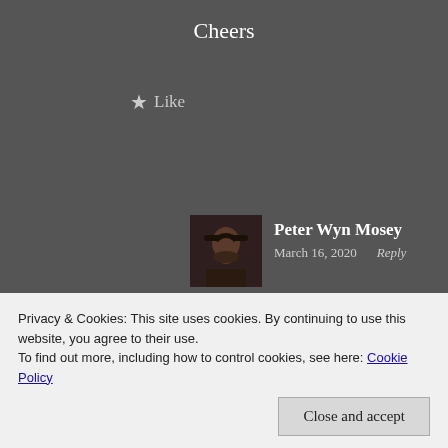Cheers
★ Like
[Figure (photo): Avatar photo of bearded man wearing a dark hat]
Peter Wyn Mosey
March 16, 2020   Reply
That's annoying. I upgraded my jetpack subscription so it would
Privacy & Cookies: This site uses cookies. By continuing to use this website, you agree to their use.
To find out more, including how to control cookies, see here: Cookie Policy
Close and accept